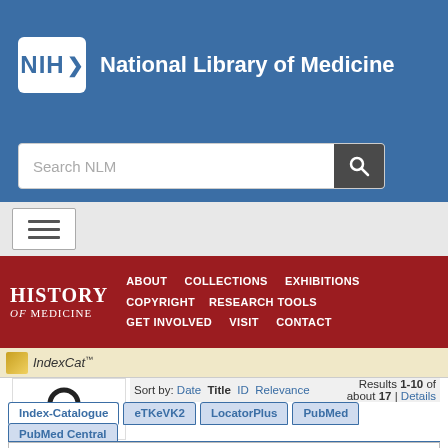[Figure (logo): NIH National Library of Medicine logo with white NIH text in blue box with arrow, followed by 'National Library of Medicine' in white text on blue background]
[Figure (screenshot): Search NLM text input box with magnifying glass search button]
[Figure (screenshot): Hamburger menu icon (three horizontal lines) on gray background]
[Figure (screenshot): History of Medicine red navigation bar with ABOUT, COLLECTIONS, EXHIBITIONS, COPYRIGHT, RESEARCH TOOLS, GET INVOLVED, VISIT, CONTACT links]
[Figure (screenshot): IndexCat logo on tan bar]
[Figure (screenshot): Large magnifying glass search icon]
Sort by: Date Title ID Relevance    Results 1-10 of about 17 | Details
Index-Catalogue  eTKeVK2  LocatorPlus  PubMed  PubMed Central
Refinements: Index-Catalogue: Type of Resource: Dissertation × Index-Catalogue, Library of the Surgeon-General's Office 1880-1961: Series 4, 1936- > Volume 005 × > Page 1017 ×